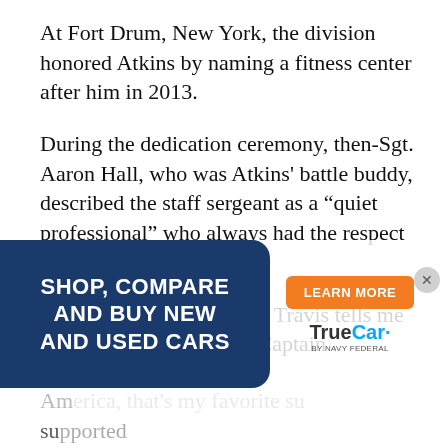At Fort Drum, New York, the division honored Atkins by naming a fitness center after him in 2013.
During the dedication ceremony, then-Sgt. Aaron Hall, who was Atkins' battle buddy, described the staff sergeant as a “quiet professional” who always had the respect of others.
“When my 4-year-old son Travis tells me his favorite superhero is Captain America, that’s my favorite …
[Figure (infographic): Advertisement overlay: dark blue panel with white bold text 'SHOP, COMPARE AND BUY NEW AND USED CARS', orange 'LEARN MORE' button, and TrueCar by Navy Federal logo on white background. Close (x) button in top-right corner.]